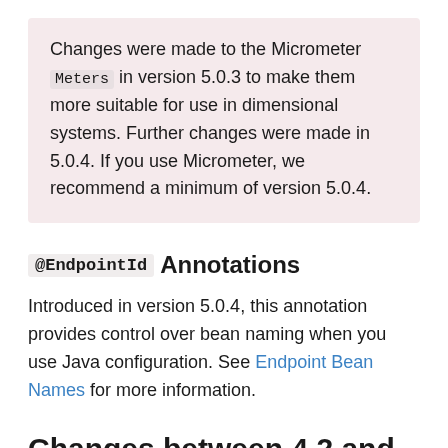Changes were made to the Micrometer Meters in version 5.0.3 to make them more suitable for use in dimensional systems. Further changes were made in 5.0.4. If you use Micrometer, we recommend a minimum of version 5.0.4.
@EndpointId Annotations
Introduced in version 5.0.4, this annotation provides control over bean naming when you use Java configuration. See Endpoint Bean Names for more information.
Changes between 4.2 and 4.3